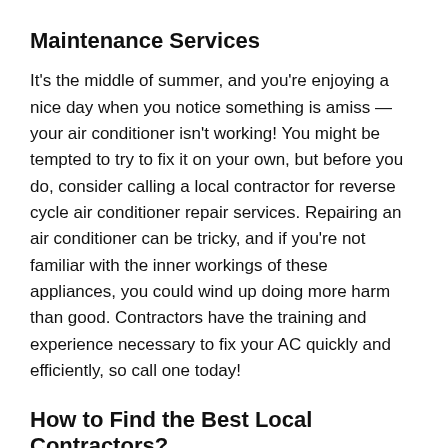Maintenance Services
It's the middle of summer, and you're enjoying a nice day when you notice something is amiss — your air conditioner isn't working! You might be tempted to try to fix it on your own, but before you do, consider calling a local contractor for reverse cycle air conditioner repair services. Repairing an air conditioner can be tricky, and if you're not familiar with the inner workings of these appliances, you could wind up doing more harm than good. Contractors have the training and experience necessary to fix your AC quickly and efficiently, so call one today!
How to Find the Best Local Contractors?
If you are like most homeowners, you want to make